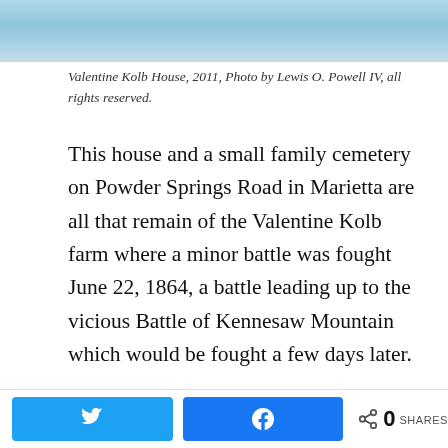[Figure (photo): Photo of Valentine Kolb House exterior, showing blue/grey tones, taken in 2011]
Valentine Kolb House, 2011, Photo by Lewis O. Powell IV, all rights reserved.
This house and a small family cemetery on Powder Springs Road in Marietta are all that remain of the Valentine Kolb farm where a minor battle was fought June 22, 1864, a battle leading up to the vicious Battle of Kennesaw Mountain which would be fought a few days later.
Behind this house, the farm fields have been